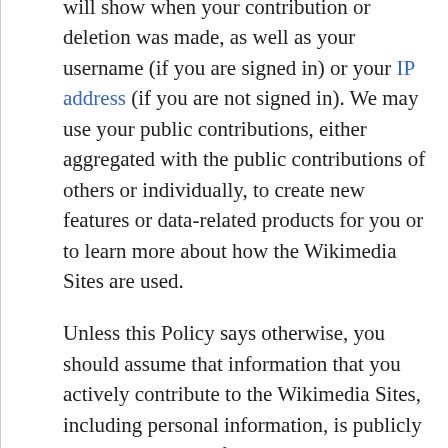will show when your contribution or deletion was made, as well as your username (if you are signed in) or your IP address (if you are not signed in). We may use your public contributions, either aggregated with the public contributions of others or individually, to create new features or data-related products for you or to learn more about how the Wikimedia Sites are used.
Unless this Policy says otherwise, you should assume that information that you actively contribute to the Wikimedia Sites, including personal information, is publicly visible and can be found by search engines. Like most things on the Internet, anything you share may be copied and redistributed throughout the Internet by other people. Please do not contribute any information that you are uncomfortable making permanently public, like revealing your real name or location in your contributions.